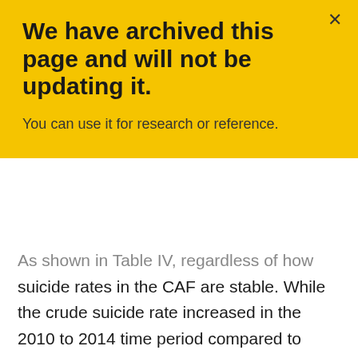We have archived this page and will not be updating it.
You can use it for research or reference.
As shown in Table IV, regardless of how suicide rates in the CAF are stable. While the crude suicide rate increased in the 2010 to 2014 time period compared to earlier years, this increase was not statistically significant. During the five-year time period of 2010 to 2014, there would need to have been a total